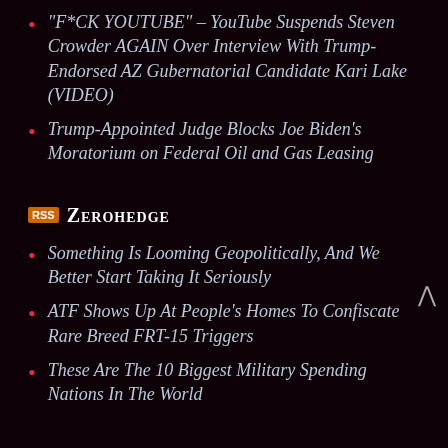“F*CK YOUTUBE” – YouTube Suspends Steven Crowder AGAIN Over Interview With Trump-Endorsed AZ Gubernatorial Candidate Kari Lake (VIDEO)
Trump-Appointed Judge Blocks Joe Biden’s Moratorium on Federal Oil and Gas Leasing
Zerohedge
Something Is Looming Geopolitically, And We Better Start Taking It Seriously
ATF Shows Up At People's Homes To Confiscate Rare Breed FRT-15 Triggers
These Are The 10 Biggest Military Spending Nations In The World
Reader Commentary